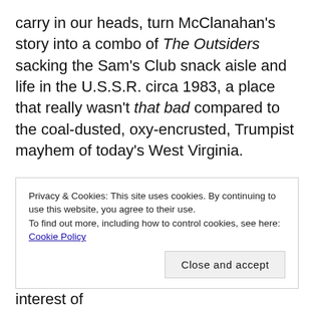carry in our heads, turn McClanahan's story into a combo of The Outsiders sacking the Sam's Club snack aisle and life in the U.S.S.R. circa 1983, a place that really wasn't that bad compared to the coal-dusted, oxy-encrusted, Trumpist mayhem of today's West Virginia.

But why go to all that trouble when it's already been done ad nauseam to McClanahan and just about every other writer remotely connected with
Privacy & Cookies: This site uses cookies. By continuing to use this website, you agree to their use.
To find out more, including how to control cookies, see here: Cookie Policy
Close and accept
seriously, harder to do so. So, in the interest of